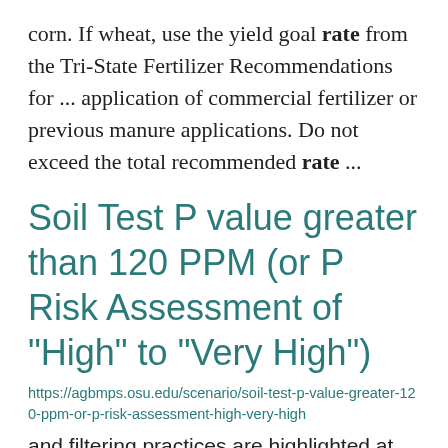corn. If wheat, use the yield goal rate from the Tri-State Fertilizer Recommendations for ... application of commercial fertilizer or previous manure applications. Do not exceed the total recommended rate ...
Soil Test P value greater than 120 PPM (or P Risk Assessment of "High" to "Very High")
https://agbmps.osu.edu/scenario/soil-test-p-value-greater-120-ppm-or-p-risk-assessment-high-very-high
and filtering practices are highlighted at the end of this section Fertilizer rate determination and ... Sampling Identify